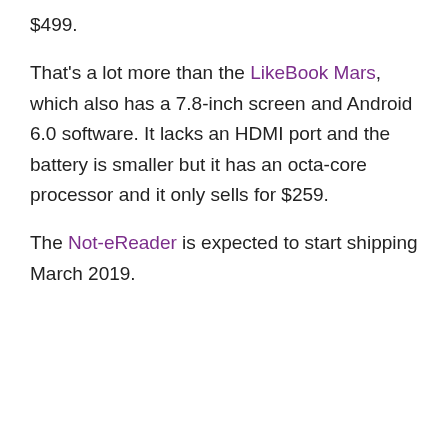$499.
That's a lot more than the LikeBook Mars, which also has a 7.8-inch screen and Android 6.0 software. It lacks an HDMI port and the battery is smaller but it has an octa-core processor and it only sells for $259.
The Not-eReader is expected to start shipping March 2019.